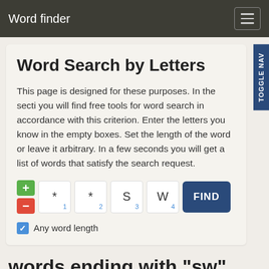Word finder
Word Search by Letters
This page is designed for these purposes. In the secti you will find free tools for word search in accordance with this criterion. Enter the letters you know in the empty boxes. Set the length of the word or leave it arbitrary. In a few seconds you will get a list of words that satisfy the search request.
[Figure (screenshot): Word search input widget with plus/minus buttons, four letter boxes containing *, *, S, W with position numbers 1, 2, 3, 4, a FIND button, and an Any word length checkbox.]
words ending with "sw"